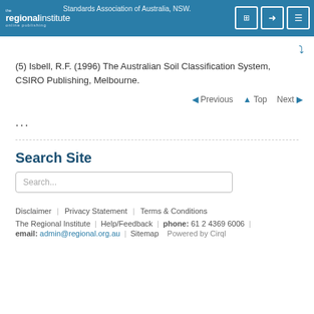the regional institute online publishing — Standards Association of Australia, NSW.
(5) Isbell, R.F. (1996) The Australian Soil Classification System, CSIRO Publishing, Melbourne.
◄ Previous  ▲ Top  Next ►
...
Search Site
Search...
Disclaimer | Privacy Statement | Terms & Conditions
The Regional Institute | Help/Feedback | phone: 61 2 4369 6006 | email: admin@regional.org.au | Sitemap | Powered by Cirql